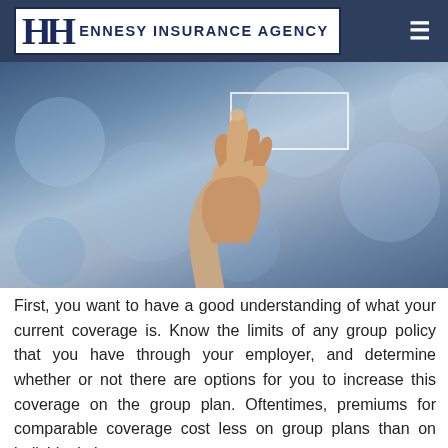[Figure (logo): Hennesy Insurance Agency logo — white box with HH monogram and agency name in dark navy blue bold text]
[Figure (photo): A hand pointing upward toward a glowing touch-screen interface button, with a blurred blue bokeh background]
First, you want to have a good understanding of what your current coverage is. Know the limits of any group policy that you have through your employer, and determine whether or not there are options for you to increase this coverage on the group plan. Oftentimes, premiums for comparable coverage cost less on group plans than on individual plans.